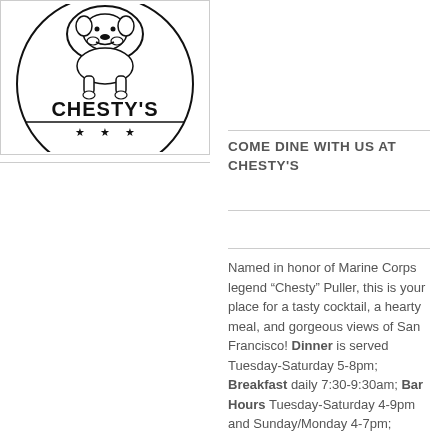[Figure (logo): Chesty's Bar & Grill logo — circular badge with three stars, text 'CHESTY'S' in large bold letters, 'BAR & GRILL' along the bottom arc, and an illustration of a bulldog above]
COME DINE WITH US AT CHESTY'S
Named in honor of Marine Corps legend “Chesty” Puller, this is your place for a tasty cocktail, a hearty meal, and gorgeous views of San Francisco! Dinner is served Tuesday-Saturday 5-8pm; Breakfast daily 7:30-9:30am; Bar Hours Tuesday-Saturday 4-9pm and Sunday/Monday 4-7pm;